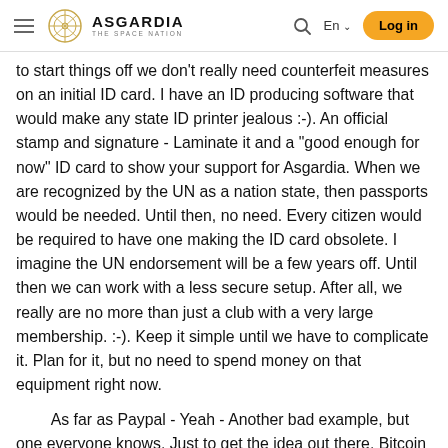ASGARDIA THE SPACE NATION — En — Log in
to start things off we don't really need counterfeit measures on an initial ID card. I have an ID producing software that would make any state ID printer jealous :-). An official stamp and signature - Laminate it and a "good enough for now" ID card to show your support for Asgardia. When we are recognized by the UN as a nation state, then passports would be needed. Until then, no need. Every citizen would be required to have one making the ID card obsolete. I imagine the UN endorsement will be a few years off. Until then we can work with a less secure setup. After all, we really are no more than just a club with a very large membership. :-). Keep it simple until we have to complicate it. Plan for it, but no need to spend money on that equipment right now.
As far as Paypal - Yeah - Another bad example, but one everyone knows. Just to get the idea out there. Bitcoin would be the first currency of choice IMHO - OR a crypto we would